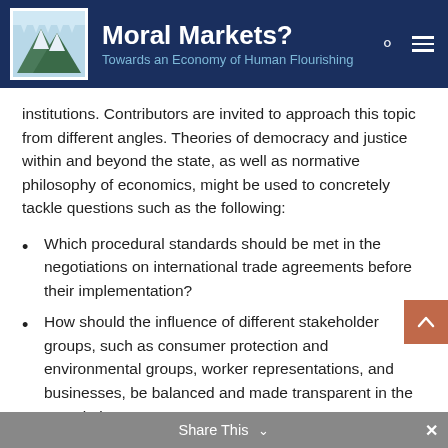Moral Markets? Towards an Economy of Human Flourishing
institutions. Contributors are invited to approach this topic from different angles. Theories of democracy and justice within and beyond the state, as well as normative philosophy of economics, might be used to concretely tackle questions such as the following:
Which procedural standards should be met in the negotiations on international trade agreements before their implementation?
How should the influence of different stakeholder groups, such as consumer protection and environmental groups, worker representations, and businesses, be balanced and made transparent in the negotiation stages?
How can corporate expertise be taken into account in this